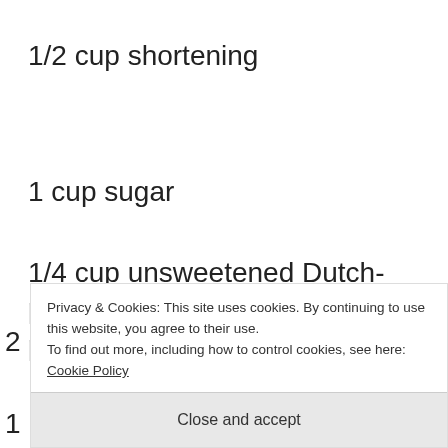1/2 cup shortening
1 cup sugar
1/4 cup unsweetened Dutch-process cocoa powder, I like Ghirardelli
Privacy & Cookies: This site uses cookies. By continuing to use this website, you agree to their use.
To find out more, including how to control cookies, see here: Cookie Policy
Close and accept